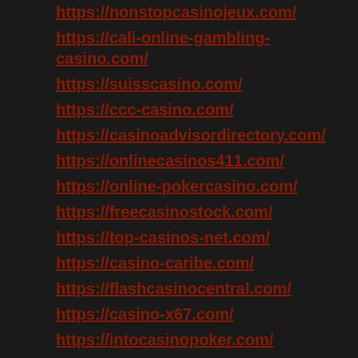https://nonstopcasinojeux.com/
https://cali-online-gambling-casino.com/
https://suisscasino.com/
https://ccc-casino.com/
https://casinoadvisordirectory.com/
https://onlinecasinos411.com/
https://online-pokercasino.com/
https://freecasinostock.com/
https://top-casinos-net.com/
https://casino-caribe.com/
https://flashcasinocentral.com/
https://casino-x67.com/
https://intocasinopoker.com/
https://portail-casino.com/
https://casino-elegance.com/
https://casinos-01.com/